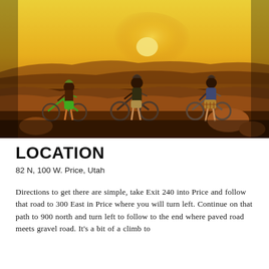[Figure (photo): Three mountain bikers with their bicycles standing on a rocky overlook at sunset. The leftmost rider wears green shorts and a helmet, holds a green mountain bike. The center rider wears a dark t-shirt and holds a black bike. The rightmost rider wears plaid shorts and a blue shirt, holding another bike. The background shows a warm golden-orange sunset over a desert landscape with distant mesas.]
LOCATION
82 N, 100 W. Price, Utah
Directions to get there are simple, take Exit 240 into Price and follow that road to 300 East in Price where you will turn left. Continue on that path to 900 north and turn left to follow to the end where paved road meets gravel road. It's a bit of a climb to